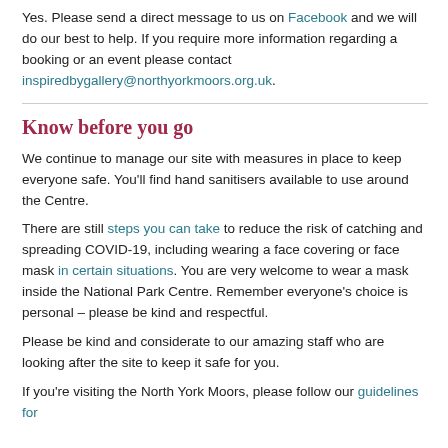Yes. Please send a direct message to us on Facebook and we will do our best to help. If you require more information regarding a booking or an event please contact inspiredbygallery@northyorkmoors.org.uk.
Know before you go
We continue to manage our site with measures in place to keep everyone safe. You'll find hand sanitisers available to use around the Centre.
There are still steps you can take to reduce the risk of catching and spreading COVID-19, including wearing a face covering or face mask in certain situations. You are very welcome to wear a mask inside the National Park Centre. Remember everyone's choice is personal – please be kind and respectful.
Please be kind and considerate to our amazing staff who are looking after the site to keep it safe for you.
If you're visiting the North York Moors, please follow our guidelines for